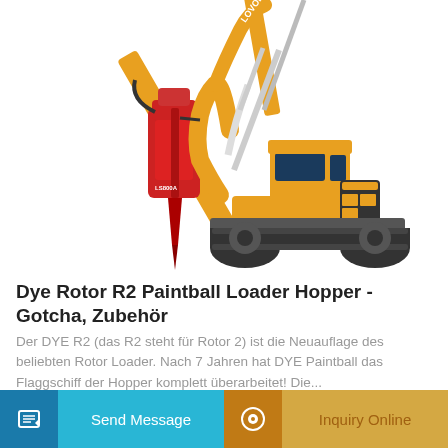[Figure (photo): Yellow LOVOL excavator with a red hydraulic breaker attachment (LS800A), tracked undercarriage, on white background]
Dye Rotor R2 Paintball Loader Hopper - Gotcha, Zubehör
Der DYE R2 (das R2 steht für Rotor 2) ist die Neuauflage des beliebten Rotor Loader. Nach 7 Jahren hat DYE Paintball das Flaggschiff der Hopper komplett überarbeitet! Die...
Learn More
Send Message
Inquiry Online